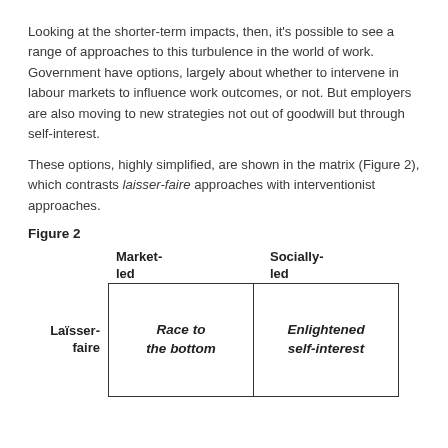Looking at the shorter-term impacts, then, it's possible to see a range of approaches to this turbulence in the world of work. Government have options, largely about whether to intervene in labour markets to influence work outcomes, or not. But employers are also moving to new strategies not out of goodwill but through self-interest.
These options, highly simplified, are shown in the matrix (Figure 2), which contrasts laisser-faire approaches with interventionist approaches.
Figure 2
[Figure (other): A 2x2 matrix with column headers 'Market-led' and 'Socially-led', and row label 'Laisser-faire'. The cells contain 'Race to the bottom' (Market-led / Laisser-faire) and 'Enlightened self-interest' (Socially-led / Laisser-faire).]